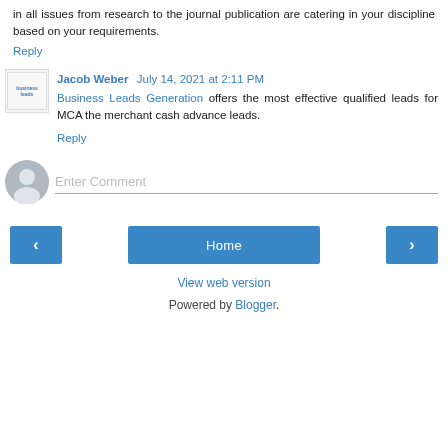in all issues from research to the journal publication are catering in your discipline based on your requirements.
Reply
Jacob Weber  July 14, 2021 at 2:11 PM
Business Leads Generation offers the most effective qualified leads for MCA the merchant cash advance leads.
Reply
Enter Comment
Home
View web version
Powered by Blogger.